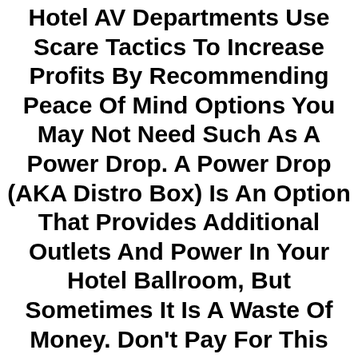Hotel AV Departments Use Scare Tactics To Increase Profits By Recommending Peace Of Mind Options You May Not Need Such As A Power Drop. A Power Drop (AKA Distro Box) Is An Option That Provides Additional Outlets And Power In Your Hotel Ballroom, But Sometimes It Is A Waste Of Money. Don't Pay For This Upcharge For Your Orlando Party Until You Speak To Us.
We Know The Power Requirements Of Our Rental Equipment, But Most Of Our